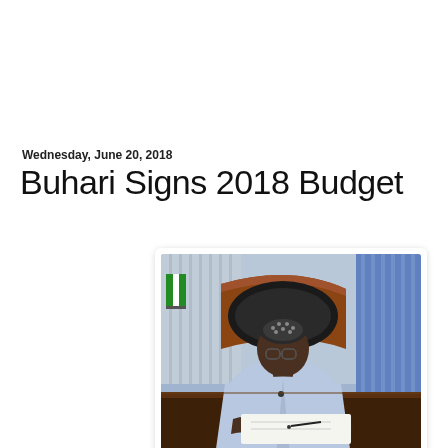Wednesday, June 20, 2018
Buhari Signs 2018 Budget
[Figure (photo): President Buhari seated at a wooden desk signing a document, wearing a light blue agbada and patterned cap, with a leather chair, Nigerian flag, and blue curtains in the background.]